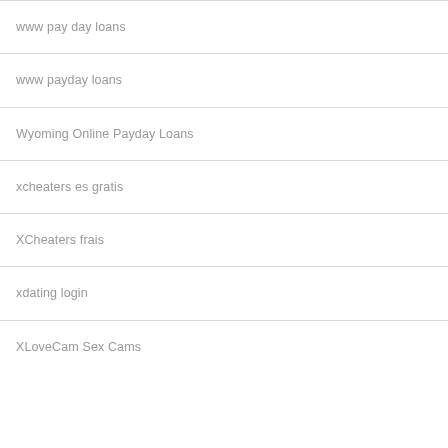www pay day loans
www payday loans
Wyoming Online Payday Loans
xcheaters es gratis
XCheaters frais
xdating login
XLoveCam Sex Cams